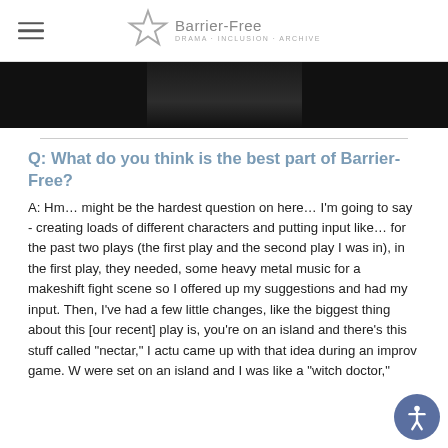Barrier-Free
[Figure (photo): Partial photo of a person in a dark outfit, cropped — only the torso/shoulder area visible against a black background.]
Q:  What do you think is the best part of Barrier-Free?
A:  Hm… might be the hardest question on here… I'm going to say - creating loads of different characters and putting input like… for the past two plays (the first play and the second play I was in), in the first play, they needed, some heavy metal music for a makeshift fight scene so I offered up my suggestions and had my input.  Then, I've had a few little changes, like the biggest thing about this [our recent] play is, you're on an island and there's this stuff called "nectar,"  I actu came up with that idea during an improv game.  W were set on an island and I was like a "witch doctor"